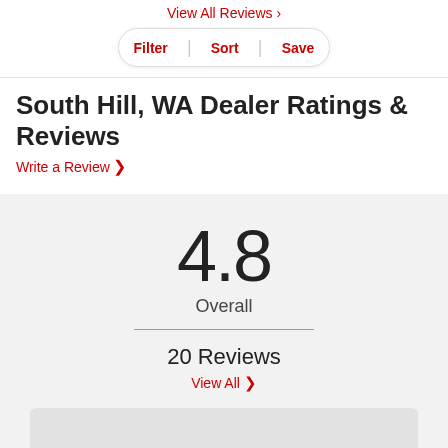View All Reviews ›
Filter  |  Sort  |  Save
South Hill, WA Dealer Ratings & Reviews
Write a Review ›
4.8
Overall
20 Reviews
View All ›